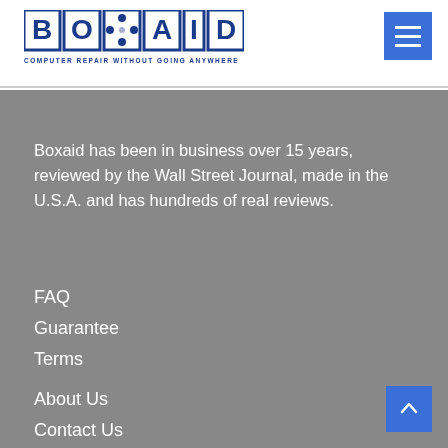[Figure (logo): Boxaid logo with text BOXAID in blue bordered letters and tagline COMPUTER REPAIR WITHOUT GOING ANYWHERE]
Boxaid has been in business over 15 years, reviewed by the Wall Street Journal, made in the U.S.A. and has hundreds of real reviews.
FAQ
Guarantee
Terms
About Us
Contact Us
Careers
Blog